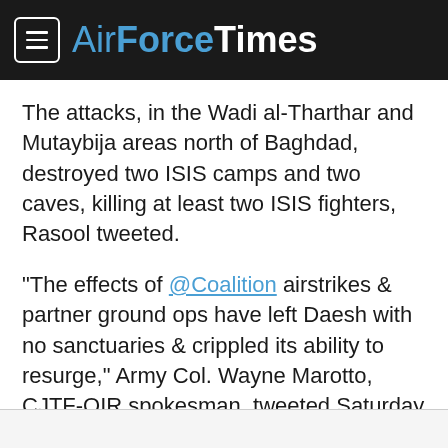AirForceTimes
The attacks, in the Wadi al-Tharthar and Mutaybija areas north of Baghdad, destroyed two ISIS camps and two caves, killing at least two ISIS fighters, Rasool tweeted.
“The effects of @Coalition airstrikes & partner ground ops have left Daesh with no sanctuaries & crippled its ability to resurge,” Army Col. Wayne Marotto, CJTF-OIR spokesman, tweeted Saturday morning.